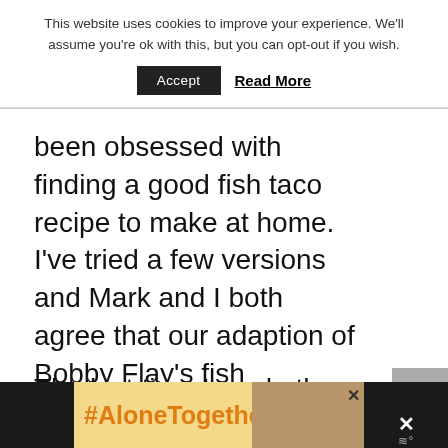This website uses cookies to improve your experience. We'll assume you're ok with this, but you can opt-out if you wish.
Accept   Read More
been obsessed with finding a good fish taco recipe to make at home. I've tried a few versions and Mark and I both agree that our adaption of Bobby Flay's fish marinade is our fave – flavorful and scrumptious.
The last time I made them Mark had an
[Figure (screenshot): #AloneTogether advertisement banner at the bottom of the page with a photo of a woman and close/dismiss buttons]